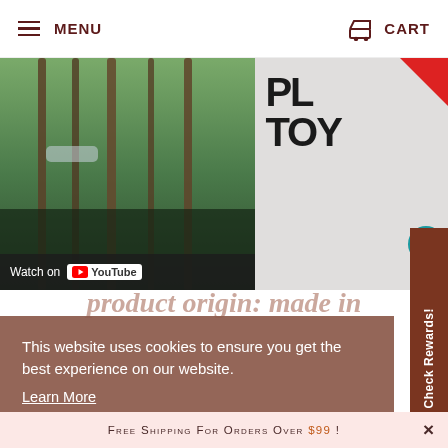MENU   CART
[Figure (screenshot): Split screen: left side shows a video thumbnail of trees/forest with a car visible, with 'Watch on YouTube' overlay bar. Right side shows partial PlanToys logo text 'PL' and 'TOY' with red play button icon and accessibility badge.]
product origin: made in
This website uses cookies to ensure you get the best experience on our website. Learn More
Got it!
Check Rewards!
Free shipping for orders over $99 !